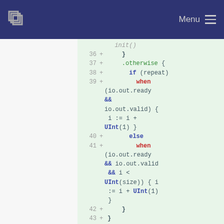SSS Menu
[Figure (screenshot): Code diff viewer showing lines 36-43 of a hardware description language (Chisel/SpinalHDL) file, with line numbers, plus signs indicating additions, and syntax-highlighted code including keywords: if, when, else, UInt, .otherwise, io.out.ready, io.out.valid]
36 + }
37 + .otherwise {
38 + if (repeat)
39 + when (io.out.ready && io.out.valid) { i := i + UInt(1) }
40 + else
41 + when (io.out.ready && io.out.valid && i < UInt(size)) { i := i + UInt(1) }
42 + }
43 + }